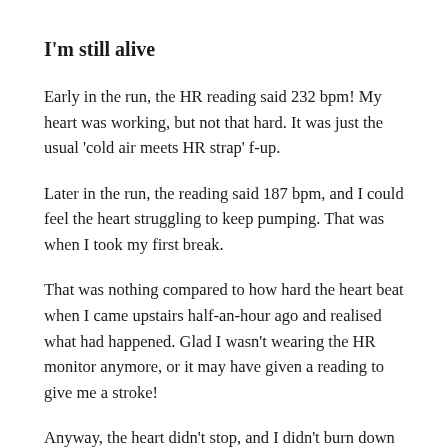I'm still alive
Early in the run, the HR reading said 232 bpm! My heart was working, but not that hard. It was just the usual 'cold air meets HR strap' f-up.
Later in the run, the reading said 187 bpm, and I could feel the heart struggling to keep pumping. That was when I took my first break.
That was nothing compared to how hard the heart beat when I came upstairs half-an-hour ago and realised what had happened. Glad I wasn't wearing the HR monitor anymore, or it may have given a reading to give me a stroke!
Anyway, the heart didn't stop, and I didn't burn down the house. I'll call this afternoon a win.